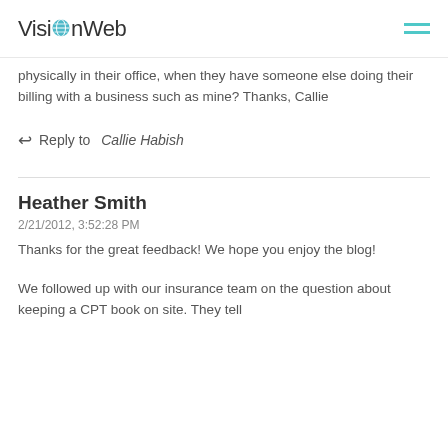VisionWeb
physically in their office, when they have someone else doing their billing with a business such as mine? Thanks, Callie
↩ Reply to Callie Habish
Heather Smith
2/21/2012, 3:52:28 PM
Thanks for the great feedback! We hope you enjoy the blog!
We followed up with our insurance team on the question about keeping a CPT book on site. They tell